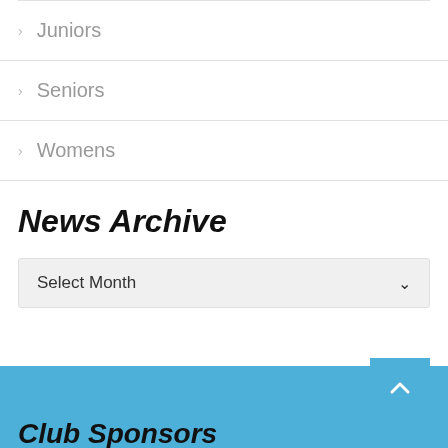Juniors
Seniors
Womens
News Archive
Select Month
Club Sponsors